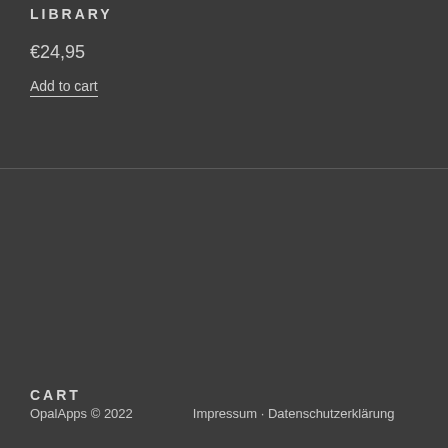LIBRARY
€24,95
Add to cart
CART
[Figure (logo): Twitter bird icon in a circular grey button]
OpalApps © 2022   Impressum • Datenschutzerklärung